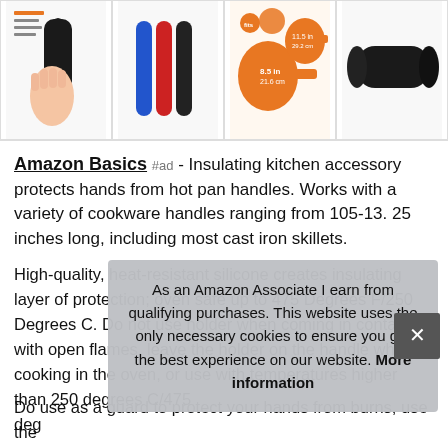[Figure (photo): Four product images showing silicone pan handle holders: hand holding a black holder, three holders in blue/red/black colors, size comparison diagram with orange skillets, and a black sleeve-style holder.]
Amazon Basics #ad - Insulating kitchen accessory protects hands from hot pan handles. Works with a variety of cookware handles ranging from 105-13. 25 inches long, including most cast iron skillets.
High-quality, heat-resistant silicone creates insulating layer of protection; oven safe up to 475 Degrees F/250 Degrees C. Do not use holder when coming in contact with open flames, leave the holder on the handle while cooking in the oven, or use with temperatures higher than 250 degrees C/475 degrees
As an Amazon Associate I earn from qualifying purchases. This website uses the only necessary cookies to ensure you get the best experience on our website. More information
Do use as a guard to protect your hands from burns, use the